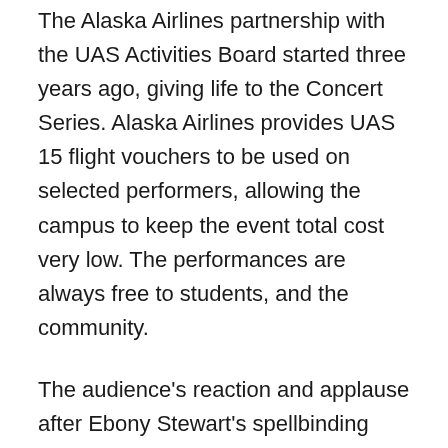The Alaska Airlines partnership with the UAS Activities Board started three years ago, giving life to the Concert Series. Alaska Airlines provides UAS 15 flight vouchers to be used on selected performers, allowing the campus to keep the event total cost very low. The performances are always free to students, and the community.
The audience's reaction and applause after Ebony Stewart's spellbinding performance clearly portrayed emotions of community unity and empowerment. UAS students who attended the event definitely left having a greater appreciation for the UAS Activities Board for hosting such an inspirational event
When asked if Stewart had any advice for UAS aspiring poets, Stewart says, "Start with what you know, or it...